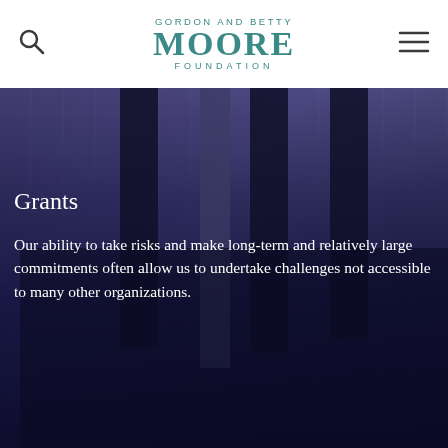[Figure (logo): Gordon and Betty Moore Foundation logo in teal/green color]
[Figure (photo): Background photo of scientific equipment (telescope or detector arrays) in dark blue/purple tones]
Grants
Our ability to take risks and make long-term and relatively large commitments often allow us to undertake challenges not accessible to many other organizations.